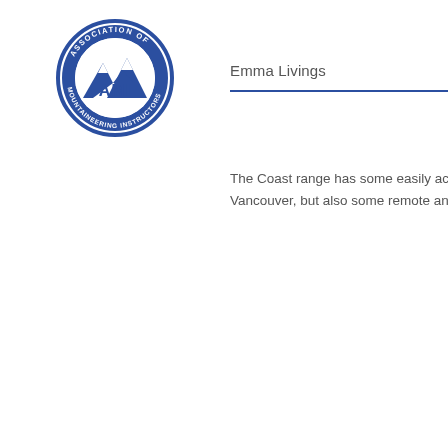[Figure (logo): AMI Association of Mountaineering Instructors circular logo with mountain peaks graphic in blue and white]
Emma Livings
The Coast range has some easily acce Vancouver, but also some remote and s